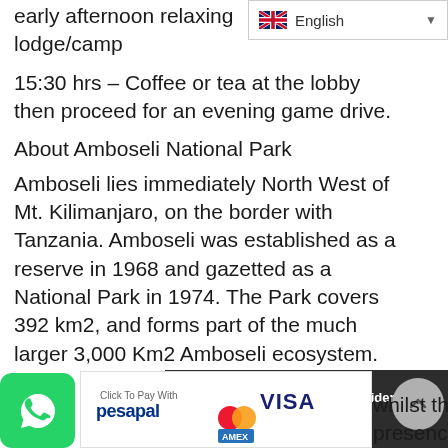[Figure (screenshot): Language selector bar showing English with flag icon and dropdown arrow]
early afternoon relaxing lodge/camp
15:30 hrs – Coffee or tea at the lobby then proceed for an evening game drive.
About Amboseli National Park
Amboseli lies immediately North West of Mt. Kilimanjaro, on the border with Tanzania. Amboseli was established as a reserve in 1968 and gazetted as a National Park in 1974. The Park covers 392 km2, and forms part of the much larger 3,000 Km2 Amboseli ecosystem.
[Figure (infographic): Dark banner with red travellers icon and text: 1 travellers are considering this tour right now!]
[Figure (logo): WhatsApp button (green rounded square) and Pesapal payment badge with Visa, Mastercard, Amex logos]
whilst the presence of